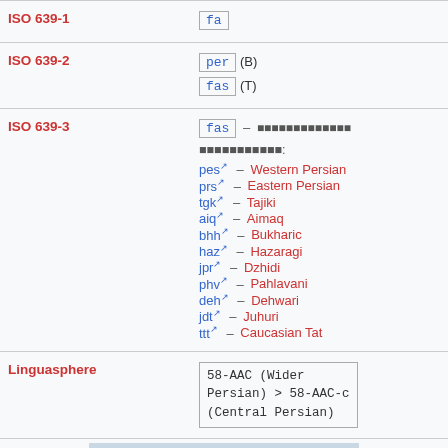| Field | Value |
| --- | --- |
| ISO 639-1 | fa |
| ISO 639-2 | per (B) / fas (T) |
| ISO 639-3 | fas – [script]; pes – Western Persian; prs – Eastern Persian; tgk – Tajiki; aiq – Aimaq; bhh – Bukharic; haz – Hazaragi; jpr – Dzhidi; phv – Pahlavani; deh – Dehwari; jdt – Juhuri; ttt – Caucasian Tat |
| Linguasphere | 58-AAC (Wider Persian) > 58-AAC-c (Central Persian) |
[Figure (map): Geographic map showing the distribution of Persian language]